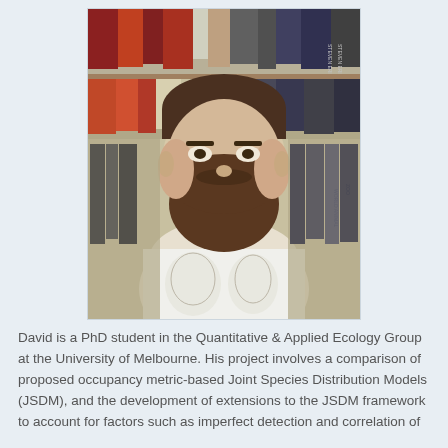[Figure (photo): A bearded man wearing a white t-shirt with printed portraits, standing in front of bookshelves filled with books.]
David is a PhD student in the Quantitative & Applied Ecology Group at the University of Melbourne. His project involves a comparison of proposed occupancy metric-based Joint Species Distribution Models (JSDM), and the development of extensions to the JSDM framework to account for factors such as imperfect detection and correlation of